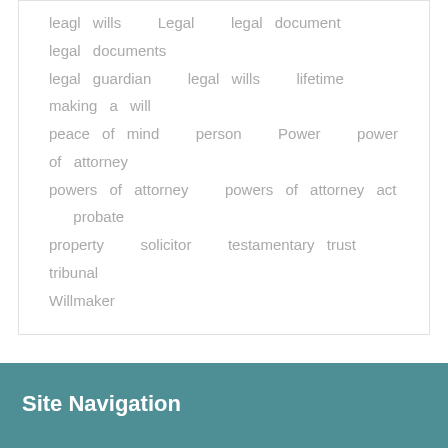leagl wills   Legal   legal document   legal documents   legal guardian   legal wills   lifetime   making a will   peace of mind   person   Power   power of attorney   powers of attorney   powers of attorney act   probate   property   solicitor   testamentary trust   tribunal   Willmaker
Site Navigation
Home
WHAT ARE YOU WAITING FOR? GET YOUR LEGAL WILL NOW
GET YOUR LEGAL WILL ONLY $25
100% money back guarantee